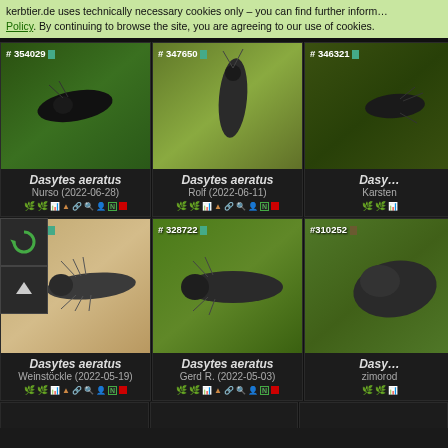kerbtier.de uses technically necessary cookies only – you can find further information in our Cookie Policy. By continuing to browse the site, you are agreeing to our use of cookies.
[Figure (photo): Macro photo of Dasytes aeratus beetle on green leaf, ID #354029]
Dasytes aeratus
Nurso (2022-06-28)
[Figure (photo): Macro photo of Dasytes aeratus beetle on green leaf, ID #347650]
Dasytes aeratus
Rolf (2022-06-11)
[Figure (photo): Macro photo of Dasytes aeratus beetle, ID #346321]
Dasy...
Karsten
[Figure (photo): Macro photo of Dasytes aeratus beetle on sandy surface, ID #335812]
Dasytes aeratus
Weinstöckle (2022-05-19)
[Figure (photo): Macro photo of Dasytes aeratus beetle on green leaf, ID #328722]
Dasytes aeratus
Gerd R. (2022-05-03)
[Figure (photo): Macro photo of Dasytes aeratus beetle, ID #310252]
Dasy...
zimorod